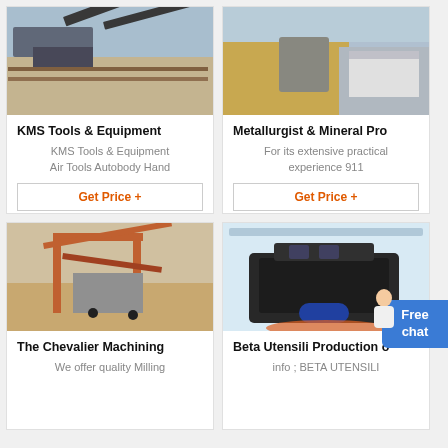[Figure (photo): Aerial view of a mining/quarry equipment facility with conveyor belts and machinery]
KMS Tools & Equipment
KMS Tools & Equipment Air Tools Autobody Hand
Get Price +
[Figure (photo): Open-pit mining or quarry site with rocky terrain and yellow construction equipment]
Metallurgist & Mineral Pro
For its extensive practical experience 911
Get Price +
[Figure (photo): Industrial red metal framed sorting/crushing machinery at a site with workers]
The Chevalier Machining
We offer quality Milling
[Figure (photo): Large industrial crusher machine displayed in a warehouse/exhibition hall]
Beta Utensili Production o
info ; BETA UTENSILI